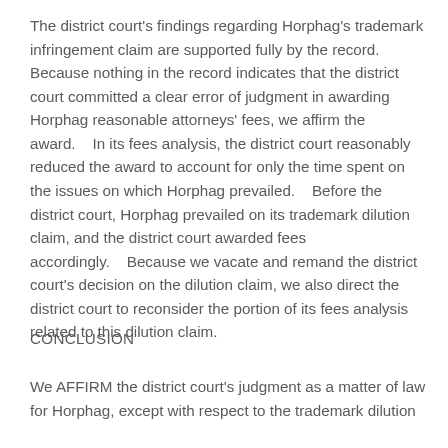The district court's findings regarding Horphag's trademark infringement claim are supported fully by the record. Because nothing in the record indicates that the district court committed a clear error of judgment in awarding Horphag reasonable attorneys' fees, we affirm the award.    In its fees analysis, the district court reasonably reduced the award to account for only the time spent on the issues on which Horphag prevailed.    Before the district court, Horphag prevailed on its trademark dilution claim, and the district court awarded fees accordingly.    Because we vacate and remand the district court's decision on the dilution claim, we also direct the district court to reconsider the portion of its fees analysis related to this dilution claim.
CONCLUSION
We AFFIRM the district court's judgment as a matter of law for Horphag, except with respect to the trademark dilution